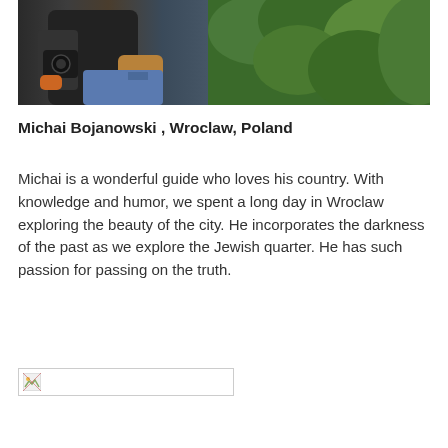[Figure (photo): Photo of Michai Bojanowski outdoors, person wearing dark jacket with camera visible, green foliage in background]
Michai Bojanowski , Wroclaw, Poland
Michai is a wonderful guide who loves his country. With knowledge and humor, we spent a long day in Wroclaw exploring the beauty of the city. He incorporates the darkness of the past as we explore the Jewish quarter. He has such passion for passing on the truth.
[Figure (photo): Broken/missing image placeholder]